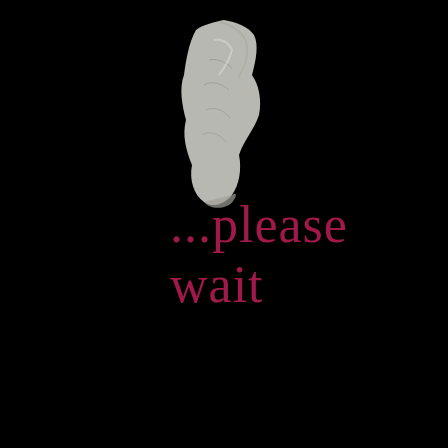[Figure (illustration): A white stone or plaster sculptural fragment resembling a partial face or architectural detail, positioned vertically in the upper-center of the black background, overlapping with the text '...please wait']
...please wait